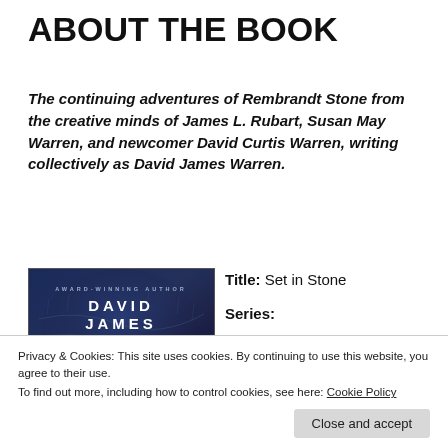ABOUT THE BOOK
The continuing adventures of Rembrandt Stone from the creative minds of James L. Rubart, Susan May Warren, and newcomer David Curtis Warren, writing collectively as David James Warren.
[Figure (photo): Book cover for 'Set in Stone' by David James Warren, with dark blue/purple tones, author name in large white letters, and a silhouette figure]
Title: Set in Stone
Series:
Privacy & Cookies: This site uses cookies. By continuing to use this website, you agree to their use. To find out more, including how to control cookies, see here: Cookie Policy
Close and accept